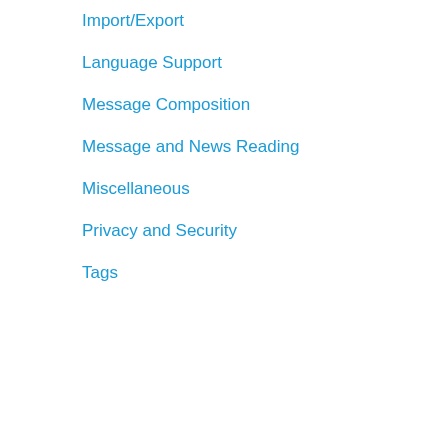Import/Export
Language Support
Message Composition
Message and News Reading
Miscellaneous
Privacy and Security
Tags
Make the "Received" co... actually received.
★★★★★ (15) · 225 use...
Hide Local Folder
Removes the 'Local Fol... (The folder itself will sta... (Based on the original v...
★★★★★ (14) · 3,718 us...
Search Results So...
REQUIRES RESTART
Makes search results so...
★★★★★ (29) · 1,811 us...